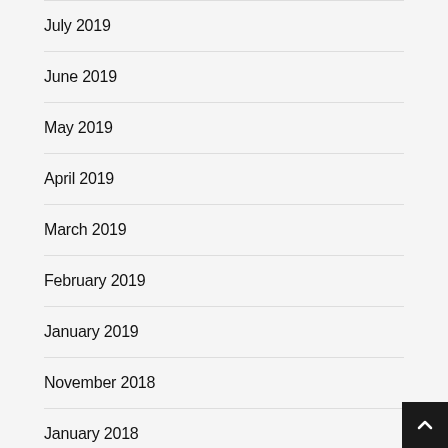July 2019
June 2019
May 2019
April 2019
March 2019
February 2019
January 2019
November 2018
January 2018